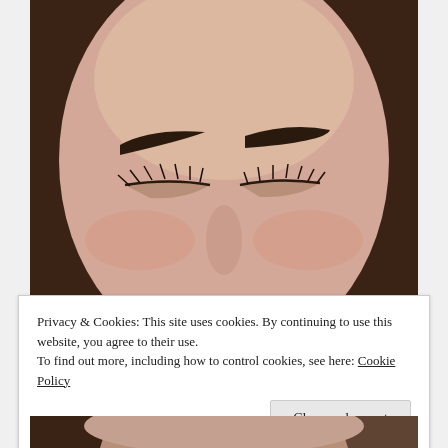[Figure (photo): Close-up photo of a woman's face with eyes closed, showing defined dark eyebrows and long eyelashes. She has dark brown hair framing her face.]
Privacy & Cookies: This site uses cookies. By continuing to use this website, you agree to their use.
To find out more, including how to control cookies, see here: Cookie Policy
Close and accept